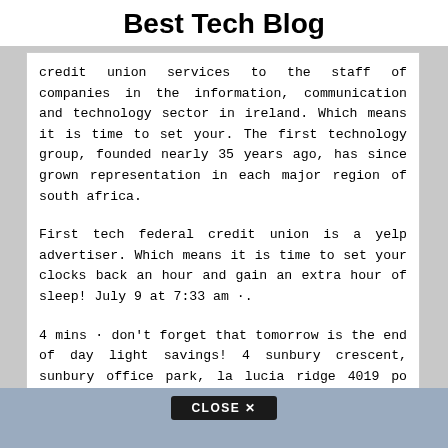Best Tech Blog
credit union services to the staff of companies in the information, communication and technology sector in ireland. Which means it is time to set your. The first technology group, founded nearly 35 years ago, has since grown representation in each major region of south africa.
First tech federal credit union is a yelp advertiser. Which means it is time to set your clocks back an hour and gain an extra hour of sleep! July 9 at 7:33 am ·.
4 mins · don't forget that tomorrow is the end of day light savings! 4 sunbury crescent, sunbury office park, la lucia ridge 4019 po box 703, umhlanga rocks, 4319 tel: Headquartered in mountain view, ca, it has assets in the amount of $7,342,465,830.
[Figure (other): Bottom banner ad area with CLOSE X button overlay]